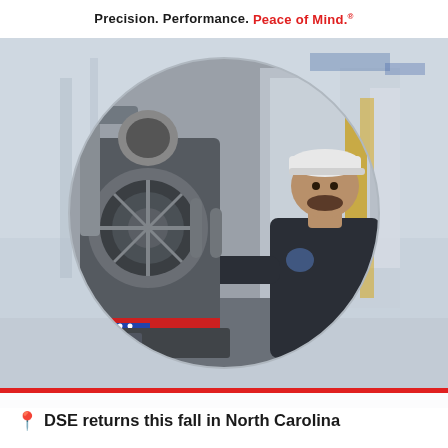Precision. Performance. Peace of Mind.
[Figure (photo): Circular photo of a male mechanic/technician in a dark jacket and white cap, working on vehicle wheel/suspension equipment in an automotive service bay. Background shows a blurred industrial workshop environment.]
DSE returns this fall in North Carolina